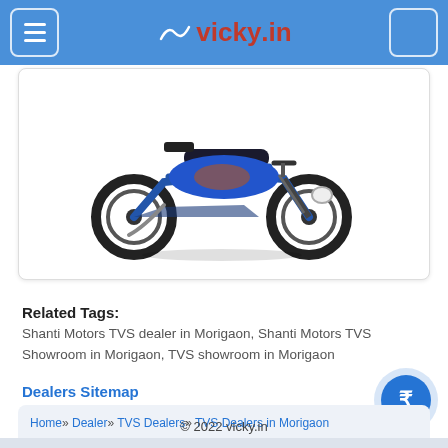vicky.in
[Figure (photo): Blue TVS moped/step-through motorcycle shown in side profile against white background inside a card]
Related Tags:
Shanti Motors TVS dealer in Morigaon, Shanti Motors TVS Showroom in Morigaon, TVS showroom in Morigaon
Dealers Sitemap
Home » Dealer » TVS Dealers » TVS Dealers in Morigaon » Shanti Motors
© 2022 vicky.in